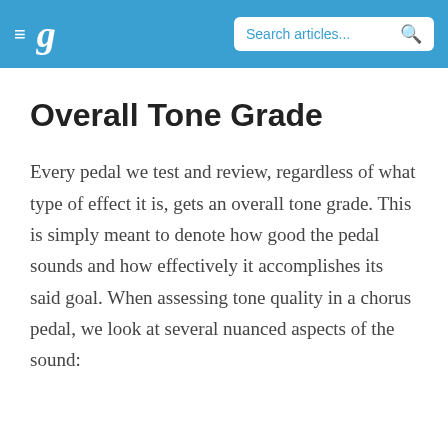g  Search articles...
Overall Tone Grade
Every pedal we test and review, regardless of what type of effect it is, gets an overall tone grade. This is simply meant to denote how good the pedal sounds and how effectively it accomplishes its said goal. When assessing tone quality in a chorus pedal, we look at several nuanced aspects of the sound: